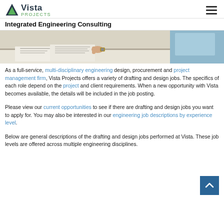Vista Projects — Integrated Engineering Consulting
Integrated Engineering Consulting
[Figure (photo): Photo of engineers working at a desk, reviewing documents or plans]
As a full-service, multi-disciplinary engineering design, procurement and project management firm, Vista Projects offers a variety of drafting and design jobs. The specifics of each role depend on the project and client requirements. When a new opportunity with Vista becomes available, the details will be included in the job posting.
Please view our current opportunities to see if there are drafting and design jobs you want to apply for. You may also be interested in our engineering job descriptions by experience level.
Below are general descriptions of the drafting and design jobs performed at Vista. These job levels are offered across multiple engineering disciplines.